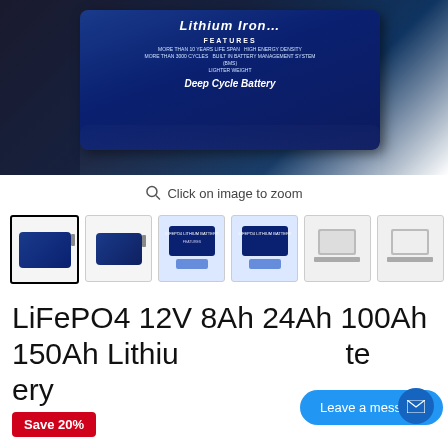[Figure (photo): Lithium Iron (LiFePO4) Deep Cycle Battery product image showing a blue battery box with white text listing features]
Click on image to zoom
[Figure (photo): Row of product thumbnail images: battery photos, product spec sheets, and laptop screenshots]
LiFePO4 12V 8Ah 24Ah 100Ah 150Ah Lithium ... te ery
Leave a message
Save 20%